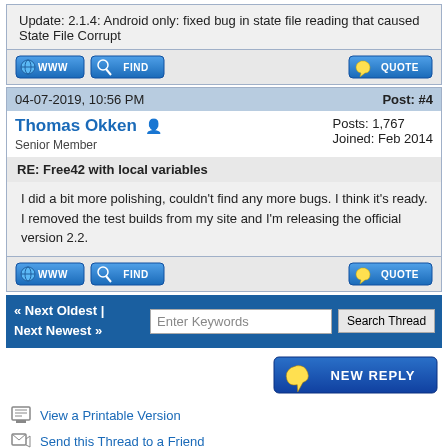Update: 2.1.4: Android only: fixed bug in state file reading that caused State File Corrupt
[Figure (screenshot): Forum action buttons: WWW, FIND, QUOTE]
04-07-2019, 10:56 PM    Post: #4
Thomas Okken  Posts: 1,767  Joined: Feb 2014  Senior Member
RE: Free42 with local variables
I did a bit more polishing, couldn't find any more bugs. I think it's ready. I removed the test builds from my site and I'm releasing the official version 2.2.
[Figure (screenshot): Forum action buttons: WWW, FIND, QUOTE]
« Next Oldest | Next Newest »   Enter Keywords   Search Thread
[Figure (screenshot): NEW REPLY button]
View a Printable Version
Send this Thread to a Friend